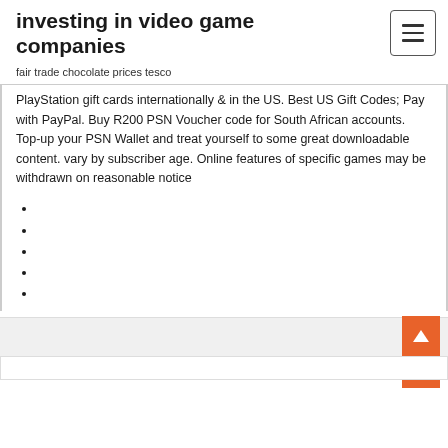investing in video game companies
fair trade chocolate prices tesco
PlayStation gift cards internationally & in the US. Best US Gift Codes; Pay with PayPal. Buy R200 PSN Voucher code for South African accounts. Top-up your PSN Wallet and treat yourself to some great downloadable content. vary by subscriber age. Online features of specific games may be withdrawn on reasonable notice